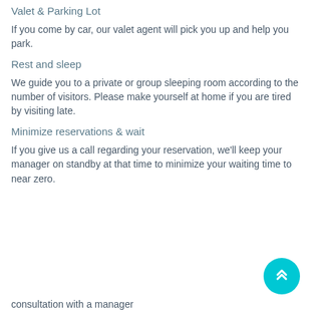Valet & Parking Lot
If you come by car, our valet agent will pick you up and help you park.
Rest and sleep
We guide you to a private or group sleeping room according to the number of visitors. Please make yourself at home if you are tired by visiting late.
Minimize reservations & wait
If you give us a call regarding your reservation, we'll keep your manager on standby at that time to minimize your waiting time to near zero.
consultation with a manager